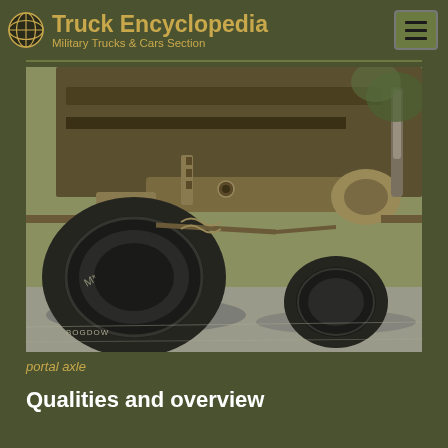Truck Encyclopedia — Military Trucks & Cars Section
[Figure (photo): Underside view of a military truck showing portal axle, suspension components, axle housing, and off-road tires on a paved surface with foliage in background.]
portal axle
Qualities and overview